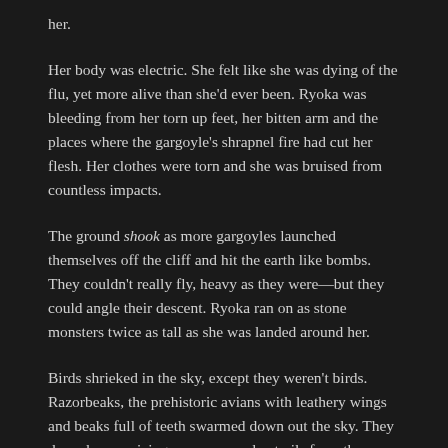her.
Her body was electric. She felt like she was dying of the flu, yet more alive than she'd ever been. Ryoka was bleeding from her torn up feet, her bitten arm and the places where the gargoyle's shrapnel fire had cut her flesh. Her clothes were torn and she was bruised from countless impacts.
The ground shook as more gargoyles launched themselves off the cliff and hit the earth like bombs. They couldn't really fly, heavy as they were—but they could angle their descent. Ryoka ran on as stone monsters twice as tall as she was landed around her.
Birds shrieked in the sky, except they weren't birds. Razorbeaks, the prehistoric avians with leathery wings and beaks full of teeth swarmed down out the sky. They dove down, seizing carcasses and entrails from the fighting monsters. Others dove at Ryoka, biting, tearing at her. She flailed at them as she ran on.